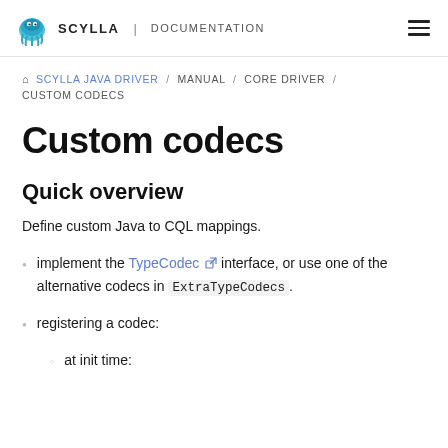SCYLLA | DOCUMENTATION
SCYLLA JAVA DRIVER / MANUAL / CORE DRIVER / CUSTOM CODECS
Custom codecs
Quick overview
Define custom Java to CQL mappings.
implement the TypeCodec interface, or use one of the alternative codecs in ExtraTypeCodecs.
registering a codec:
at init time: